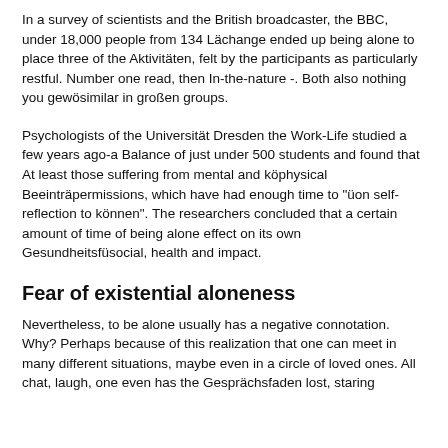In a survey of scientists and the British broadcaster, the BBC, under 18,000 people from 134 Lächange ended up being alone to place three of the Aktivitäten, felt by the participants as particularly restful. Number one read, then In-the-nature -. Both also nothing you gewösimilar in großen groups.
Psychologists of the Universität Dresden the Work-Life studied a few years ago-a Balance of just under 500 students and found that At least those suffering from mental and köphysical Beeinträpermissions, which have had enough time to "üon self-reflection to können". The researchers concluded that a certain amount of time of being alone effect on its own Gesundheitsfüsocial, health and impact.
Fear of existential aloneness
Nevertheless, to be alone usually has a negative connotation. Why? Perhaps because of this realization that one can meet in many different situations, maybe even in a circle of loved ones. All chat, laugh, one even has the Gesprächsfaden lost, staring...